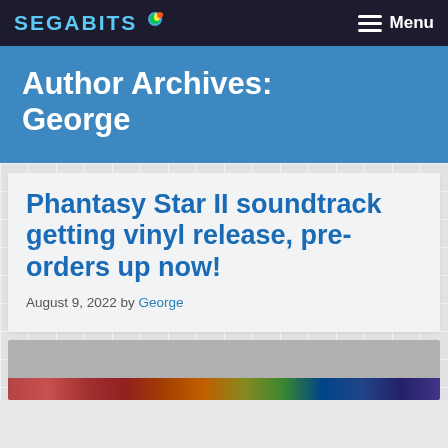SEGABITS — Menu
Author Archives: George
Phantasy Star II soundtrack getting vinyl release, pre-orders up now!
August 9, 2022 by George
[Figure (photo): Partial image strip at bottom of page showing colorful album or game artwork]